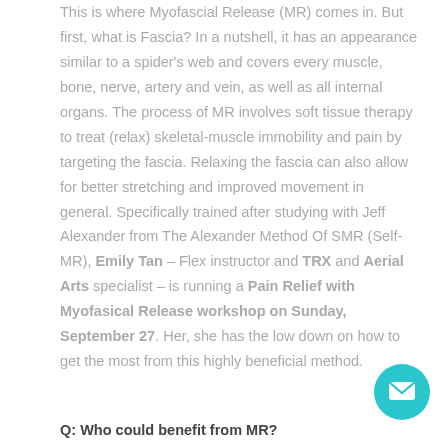This is where Myofascial Release (MR) comes in. But first, what is Fascia? In a nutshell, it has an appearance similar to a spider's web and covers every muscle, bone, nerve, artery and vein, as well as all internal organs. The process of MR involves soft tissue therapy to treat (relax) skeletal-muscle immobility and pain by targeting the fascia. Relaxing the fascia can also allow for better stretching and improved movement in general. Specifically trained after studying with Jeff Alexander from The Alexander Method Of SMR (Self-MR), Emily Tan – Flex instructor and TRX and Aerial Arts specialist – is running a Pain Relief with Myofasical Release workshop on Sunday, September 27. Her, she has the low down on how to get the most from this highly beneficial method.
Q: Who could benefit from MR?